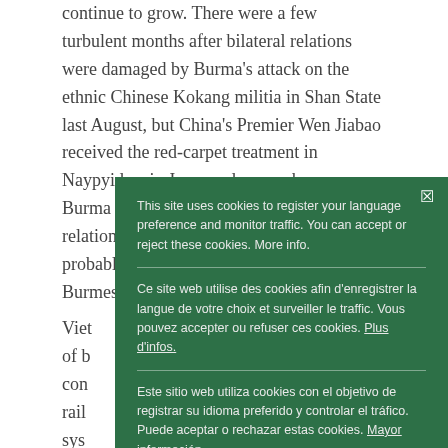continue to grow. There were a few turbulent months after bilateral relations were damaged by Burma's attack on the ethnic Chinese Kokang militia in Shan State last August, but China's Premier Wen Jiabao received the red-carpet treatment in Naypyidaw in June, and some observers see Burma gradually slipping into a vassal-state relationship with China—although this probably underestimates the wiles of a Burmese regi...
Viet... of b... con... rail... syst... sta... One... billi... high... wor... contributing to Hanoi's recently announced visa restrictions
This site uses cookies to register your language preference and monitor traffic. You can accept or reject these cookies. More info.

Ce site web utilise des cookies afin d'enregistrer la langue de votre choix et surveiller le traffic. Vous pouvez accepter ou refuser ces cookies. Plus d'infos.

Este sitio web utiliza cookies con el objetivo de registrar su idioma preferido y controlar el tráfico. Puede aceptar o rechazar estas cookies. Mayor información.